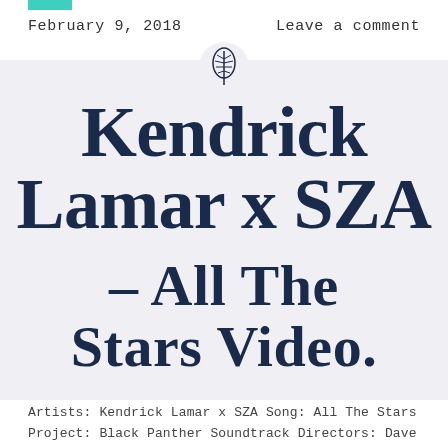February 9, 2018   Leave a comment
Kendrick Lamar x SZA – All The Stars Video.
Artists: Kendrick Lamar x SZA Song: All The Stars Project: Black Panther Soundtrack Directors: Dave